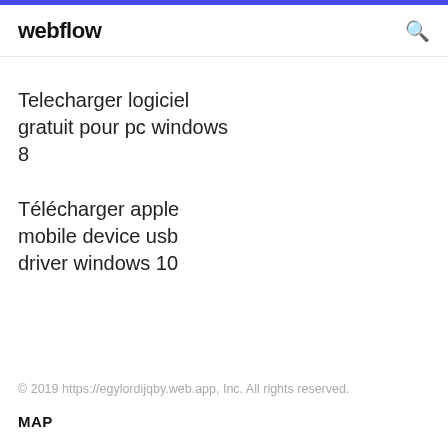webflow
Telecharger logiciel gratuit pour pc windows 8
Télécharger apple mobile device usb driver windows 10
© 2019 https://egylordijqby.web.app, Inc. All rights reserved.
MAP